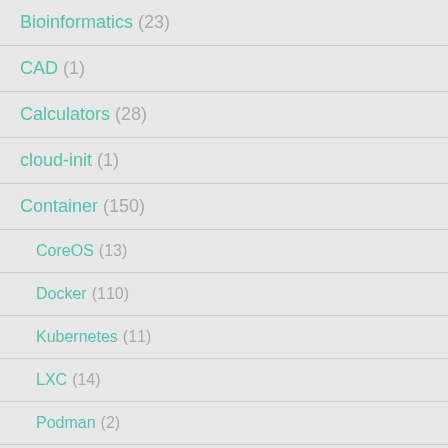Bioinformatics (23)
CAD (1)
Calculators (28)
cloud-init (1)
Container (150)
CoreOS (13)
Docker (110)
Kubernetes (11)
LXC (14)
Podman (2)
Portainer (3)